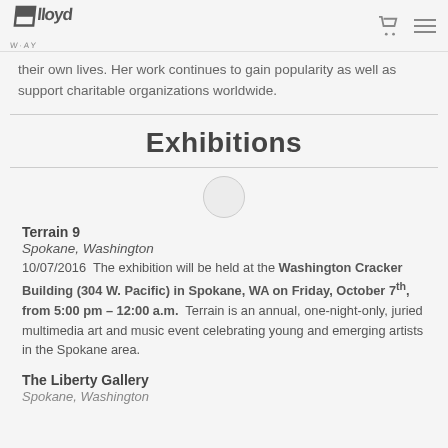Lloyd Art — navigation header with cart and menu icons
their own lives. Her work continues to gain popularity as well as support charitable organizations worldwide.
Exhibitions
Terrain 9
Spokane, Washington
10/07/2016  The exhibition will be held at the Washington Cracker Building (304 W. Pacific) in Spokane, WA on Friday, October 7th, from 5:00 pm – 12:00 a.m.  Terrain is an annual, one-night-only, juried multimedia art and music event celebrating young and emerging artists in the Spokane area.
The Liberty Gallery
Spokane, Washington